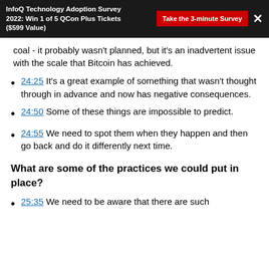InfoQ Technology Adoption Survey 2022: Win 1 of 5 QCon Plus Tickets ($599 Value)
coal - it probably wasn’t planned, but it’s an inadvertent issue with the scale that Bitcoin has achieved.
24:25 It’s a great example of something that wasn’t thought through in advance and now has negative consequences.
24:50 Some of these things are impossible to predict.
24:55 We need to spot them when they happen and then go back and do it differently next time.
What are some of the practices we could put in place?
25:35 We need to be aware that there are such